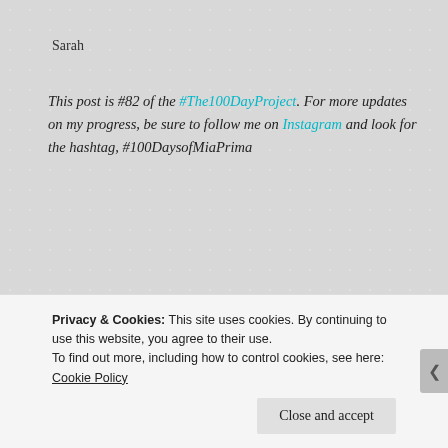Sarah
This post is #82 of the #The100DayProject. For more updates on my progress, be sure to follow me on Instagram and look for the hashtag, #100DaysofMiaPrima
[Figure (screenshot): Advertisement screenshot showing text 'Getting your team on the same page is easy. And free.' with circular avatar photos below]
Privacy & Cookies: This site uses cookies. By continuing to use this website, you agree to their use.
To find out more, including how to control cookies, see here: Cookie Policy
Close and accept